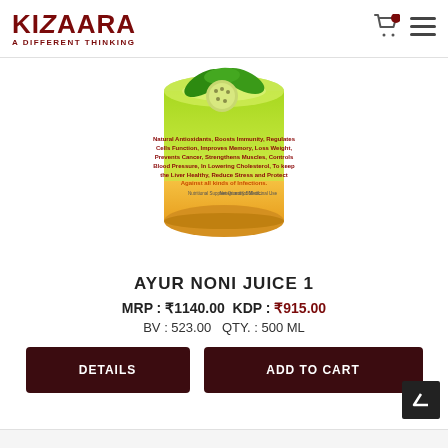KIZAARA — A DIFFERENT THINKING
[Figure (photo): Product image of Ayur Noni Juice 1 — a cylindrical can with green-yellow label showing noni fruit and leaves, with text describing health benefits. Label reads: Natural Antioxidants, Boosts Immunity, Regulates Cells Function, Improves Memory, Loss Weight, Prevents Cancer, Strengthens Muscles, Controls Blood Pressure, In Lowering Cholesterol, To keep the Liver Healthy, Reduce Stress and Protect Against all kinds of Infections. Net Quantity 500 mL.]
AYUR NONI JUICE 1
MRP : ₹1140.00  KDP : ₹915.00
BV : 523.00   QTY. : 500 ML
DETAILS
ADD TO CART